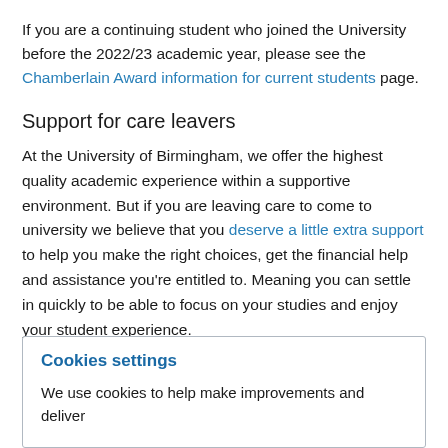If you are a continuing student who joined the University before the 2022/23 academic year, please see the Chamberlain Award information for current students page.
Support for care leavers
At the University of Birmingham, we offer the highest quality academic experience within a supportive environment. But if you are leaving care to come to university we believe that you deserve a little extra support to help you make the right choices, get the financial help and assistance you're entitled to. Meaning you can settle in quickly to be able to focus on your studies and enjoy your student experience.
The Enhanced Chamberlain Award is available to help you
Cookies settings
We use cookies to help make improvements and deliver